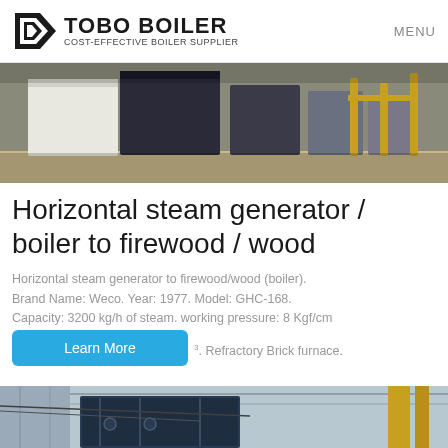TOBO BOILER — COST-EFFECTIVE BOILER SUPPLIER | MENU
[Figure (photo): Industrial boilers in a warehouse/showroom setting, multiple large boilers of different colors (white, dark blue/black) arranged in a row on a concrete floor.]
Horizontal steam generator / boiler to firewood / wood
Horizontal steam generator to firewood/wood (boiler). Brand Name: Weco. Year: 1977. Model: GHC-168. Capacity: 3200 kg/h of steam. working pressure: 8 Kgf/cm³. Refractory Brick furnace.
[Figure (photo): Close-up view of industrial boiler equipment, showing blue/dark metal structures and yellow pipe supports inside an industrial facility.]